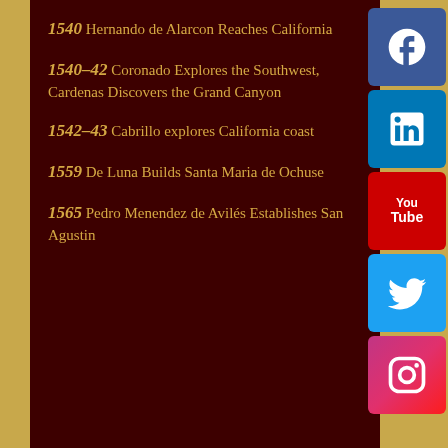1540 Hernando de Alarcon Reaches California
1540–42 Coronado Explores the Southwest, Cardenas Discovers the Grand Canyon
1542–43 Cabrillo explores California coast
1559 De Luna Builds Santa Maria de Ochuse
1565 Pedro Menendez de Avilés Establishes San Agustin
[Figure (infographic): Vertical social media icon bar on right side: Facebook (blue), LinkedIn (blue), YouTube (red), Twitter (cyan), Instagram (pink/red gradient)]